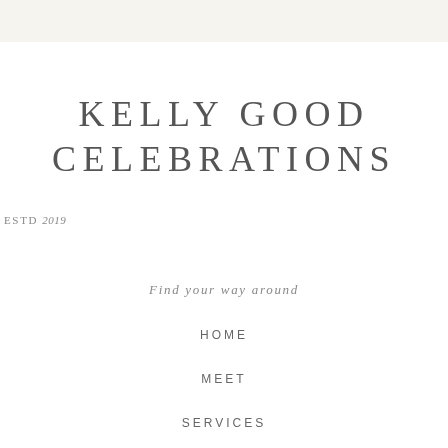KELLY GOOD CELEBRATIONS
ESTD 2019
Find your way around
HOME
MEET
SERVICES